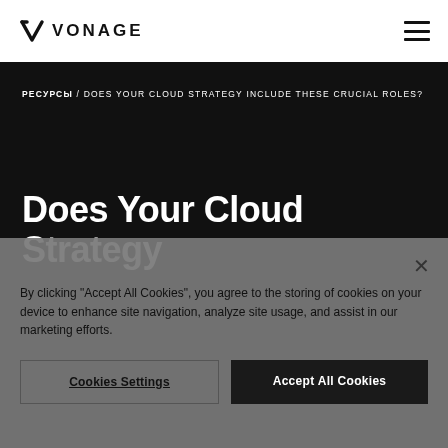[Figure (logo): Vonage logo with V checkmark and VONAGE wordmark]
РЕСУРСЫ / DOES YOUR CLOUD STRATEGY INCLUDE THESE CRUCIAL ROLES?
Does Your Cloud Strategy
By clicking "Accept All Cookies", you agree to the storing of cookies on your device to enhance site navigation, analyze site usage, and assist in our marketing efforts.
Cookies Settings | Accept All Cookies